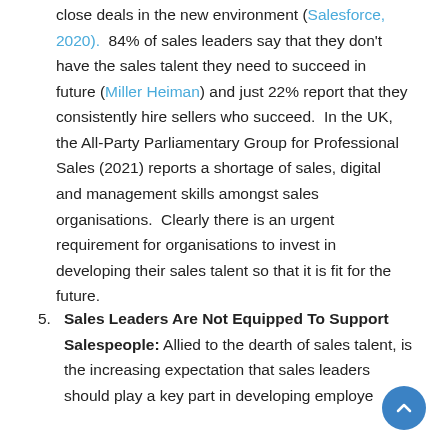close deals in the new environment (Salesforce, 2020).  84% of sales leaders say that they don't have the sales talent they need to succeed in future (Miller Heiman) and just 22% report that they consistently hire sellers who succeed.  In the UK, the All-Party Parliamentary Group for Professional Sales (2021) reports a shortage of sales, digital and management skills amongst sales organisations.  Clearly there is an urgent requirement for organisations to invest in developing their sales talent so that it is fit for the future.
5. Sales Leaders Are Not Equipped To Support Salespeople: Allied to the dearth of sales talent, is the increasing expectation that sales leaders should play a key part in developing employe...